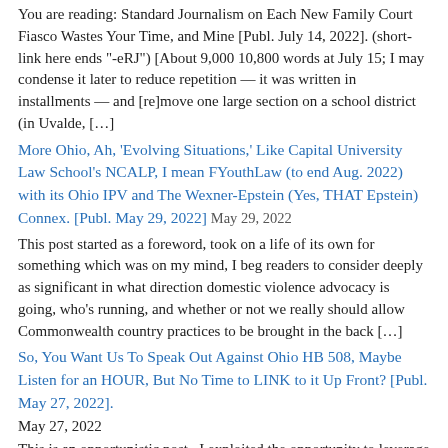You are reading: Standard Journalism on Each New Family Court Fiasco Wastes Your Time, and Mine [Publ. July 14, 2022]. (short-link here ends "-eRJ") [About 9,000 10,800 words at July 15; I may condense it later to reduce repetition — it was written in installments —  and [re]move one large section on a school district  (in Uvalde, […]
More Ohio, Ah, 'Evolving Situations,' Like Capital University Law School's NCALP, I mean FYouthLaw (to end Aug. 2022) with its Ohio IPV and The Wexner-Epstein (Yes, THAT Epstein) Connex. [Publ. May 29, 2022]
May 29, 2022
This post started as a foreword, took on a life of its own for something which was on my mind, I beg readers to consider deeply as significant in what direction domestic violence advocacy is going, who's running, and whether or not we really should allow Commonwealth country practices to be brought in the back […]
So, You Want Us To Speak Out Against Ohio HB 508, Maybe Listen for an HOUR, But No Time to LINK to it Up Front? [Publ. May 27, 2022].
May 27, 2022
This is an opportunistic post.  I exploited the opportunity to leverage another's single, recent Tweet to make a few points and share some